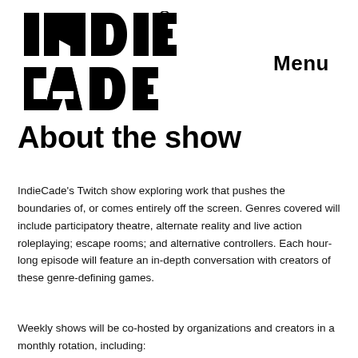[Figure (logo): IndieCade logo in large bold black block letters arranged as INDIE on top and CADE on bottom with a registered trademark symbol]
Menu
About the show
IndieCade's Twitch show exploring work that pushes the boundaries of, or comes entirely off the screen. Genres covered will include participatory theatre, alternate reality and live action roleplaying; escape rooms; and alternative controllers. Each hour-long episode will feature an in-depth conversation with creators of these genre-defining games.
Weekly shows will be co-hosted by organizations and creators in a monthly rotation, including: